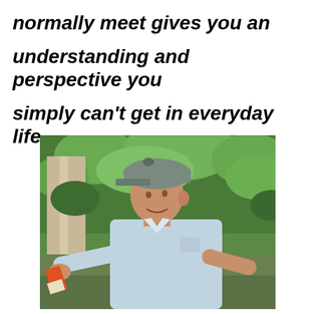normally meet gives you an understanding and perspective you simply can't get in everyday life.
[Figure (photo): A man wearing a grey cap and light blue shirt standing outdoors in a forested area, gesturing with both hands, holding a can/bottle in his left hand.]